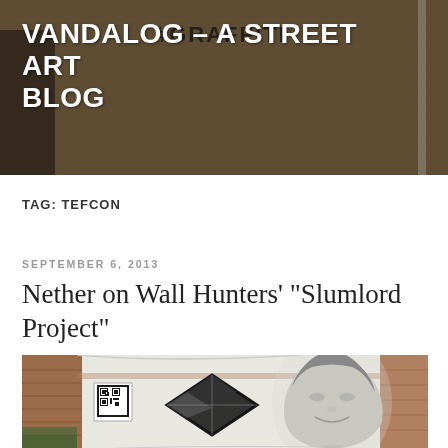[Figure (photo): Header banner photo of a brick wall with graffiti text reading #GRAFFITI, with a person partially visible on the left]
VANDALOG – A STREET ART BLOG
TAG: TEFCON
SEPTEMBER 6, 2013
Nether on Wall Hunters' “Slumlord Project”
[Figure (photo): Street art mural on an abandoned building showing a classical Greek/Roman female face portrait in black and white alongside a geometric diamond/cube shape, with a QR code visible on the left]